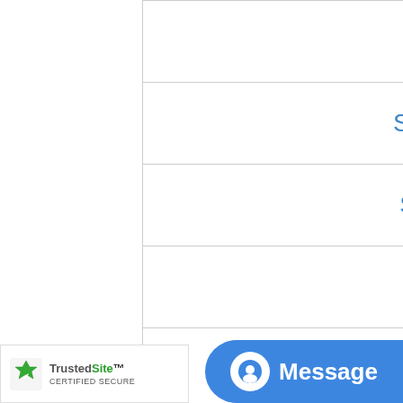| Rhode Island |
| South Carolina |
| South Dakota |
| Tennessee |
| Texas |
| Utah |
| Vermont |
| Virginia |